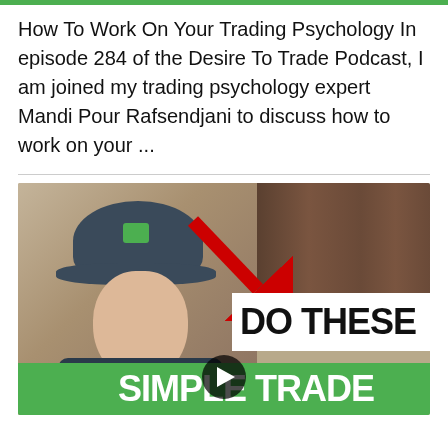How To Work On Your Trading Psychology In episode 284 of the Desire To Trade Podcast, I am joined my trading psychology expert Mandi Pour Rafsendjani to discuss how to work on your ...
[Figure (screenshot): Video thumbnail showing a man wearing a dark cap with a green logo, sitting at a desk. A red arrow points to text overlays reading 'DO THESE' in black on white background and 'SIMPLE TRADE' in white on green background. A play button is visible at the bottom center.]